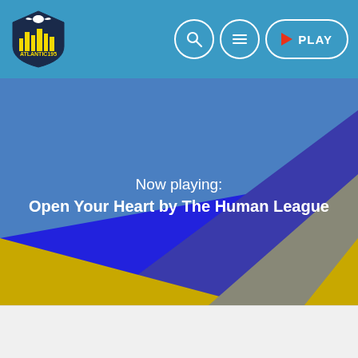[Figure (screenshot): Atlantic195 radio station website header. Logo with shield icon on left, navigation buttons (search, menu, play) on right on a blue/teal navbar.]
[Figure (illustration): Hero section with geometric diagonal shapes in blue, yellow/gold, slate gray and dark blue colors overlapping each other.]
Now playing:
Open Your Heart by The Human League